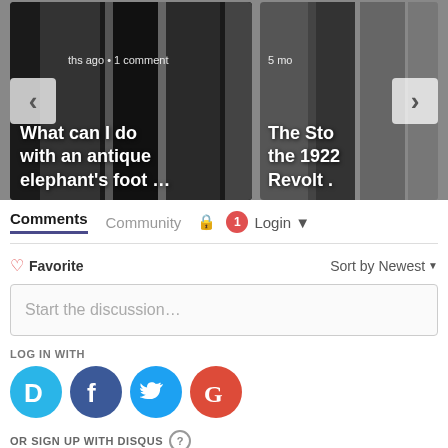[Figure (screenshot): Carousel of article cards. Left card: dark door image with text 'What can I do with an antique elephant's foot ...' and meta '...ths ago • 1 comment'. Right card: partially visible, text 'The Sto... the 1922... Revolt ...' with meta '5 mo...' Navigation arrows (< and >) visible.]
Comments   Community   🔒   1   Login ▾
♡ Favorite
Sort by Newest ▾
Start the discussion…
LOG IN WITH
[Figure (logo): Social login icons: Disqus (D, blue), Facebook (f, dark blue), Twitter (bird, light blue), Google (G, red)]
OR SIGN UP WITH DISQUS ?